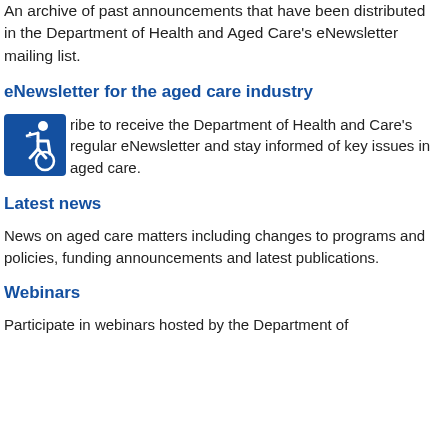An archive of past announcements that have been distributed in the Department of Health and Aged Care's eNewsletter mailing list.
eNewsletter for the aged care industry
Subscribe to receive the Department of Health and Care's regular eNewsletter and stay informed of key issues in aged care.
Latest news
News on aged care matters including changes to programs and policies, funding announcements and latest publications.
Webinars
Participate in webinars hosted by the Department of